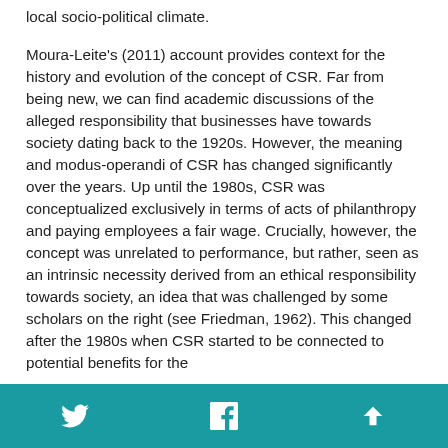local socio-political climate.
Moura-Leite's (2011) account provides context for the history and evolution of the concept of CSR. Far from being new, we can find academic discussions of the alleged responsibility that businesses have towards society dating back to the 1920s. However, the meaning and modus-operandi of CSR has changed significantly over the years. Up until the 1980s, CSR was conceptualized exclusively in terms of acts of philanthropy and paying employees a fair wage. Crucially, however, the concept was unrelated to performance, but rather, seen as an intrinsic necessity derived from an ethical responsibility towards society, an idea that was challenged by some scholars on the right (see Friedman, 1962). This changed after the 1980s when CSR started to be connected to potential benefits for the
Twitter | Facebook | Top